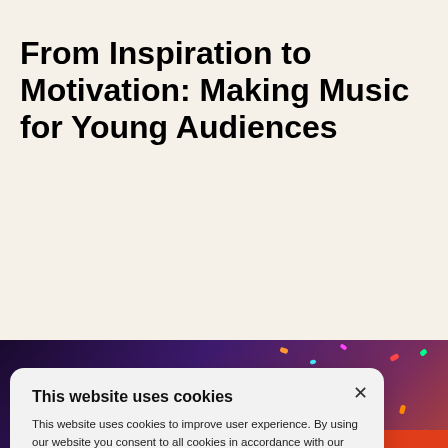From Inspiration to Motivation: Making Music for Young Audiences
[Figure (screenshot): Background photo of a concert/event with colorful confetti and lights, purple and orange tones, with a cookie consent dialog overlay. The dialog reads: 'This website uses cookies. This website uses cookies to improve user experience. By using our website you consent to all cookies in accordance with our Cookie Policy. Read More & Manage Settings' with buttons ACCEPT ALL and DECLINE ALL, and SHOW DETAILS and POWERED BY COOKIESCRIPT.]